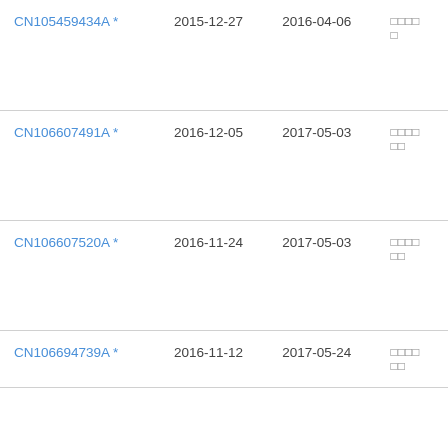| CN105459434A * | 2015-12-27 | 2016-04-06 | □□□□□ |
| CN106607491A * | 2016-12-05 | 2017-05-03 | □□□□□□ |
| CN106607520A * | 2016-11-24 | 2017-05-03 | □□□□□□ |
| CN106694739A * | 2016-11-12 | 2017-05-24 | □□□□□□ |